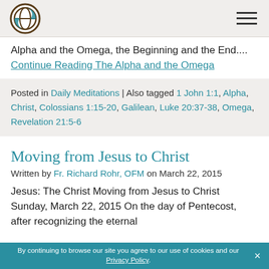[Logo] [Hamburger menu]
Alpha and the Omega, the Beginning and the End.... Continue Reading The Alpha and the Omega
Posted in Daily Meditations | Also tagged 1 John 1:1, Alpha, Christ, Colossians 1:15-20, Galilean, Luke 20:37-38, Omega, Revelation 21:5-6
Moving from Jesus to Christ
Written by Fr. Richard Rohr, OFM on March 22, 2015
Jesus: The Christ Moving from Jesus to Christ Sunday, March 22, 2015 On the day of Pentecost, after recognizing the eternal
By continuing to browse our site you agree to our use of cookies and our Privacy Policy. ×